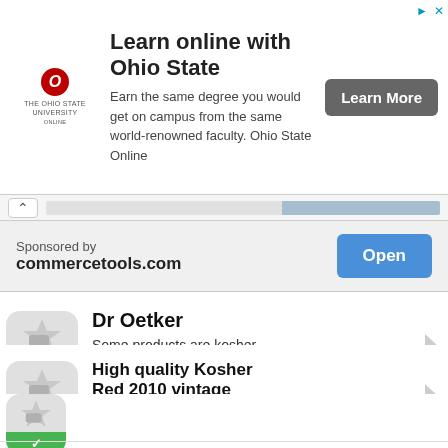[Figure (screenshot): Ohio State University Online advertisement banner with logo, title 'Learn online with Ohio State', body text, and 'Learn More' button]
Sponsored by
commercetools.com
Dr Oetker
Some products are kosher. Check on www.kosher.org.uk.
Information is obtained from Irish Jewish Community. Ireland
High quality Kosher Red 2010 vintage
Felix Rocha Kosher Wine
Information is obtained from Internation Kosher Council